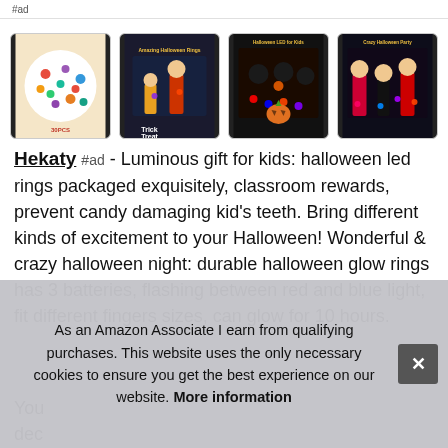#ad
[Figure (photo): Four thumbnail images of Halloween LED ring products: sticker sheet with Halloween characters, children trick-or-treating with glowing rings, group with Halloween LED rings, and adults at Halloween party with glowing rings]
Hekaty #ad - Luminous gift for kids: halloween led rings packaged exquisitely, classroom rewards, prevent candy damaging kid's teeth. Bring different kinds of excitement to your Halloween! Wonderful & crazy halloween night: durable halloween glow rings has 3 batteries, flashing between red and blue light, fit different fingers sizes, can glow for 10 hours.
You dec Cha gho Halloween time
As an Amazon Associate I earn from qualifying purchases. This website uses the only necessary cookies to ensure you get the best experience on our website. More information